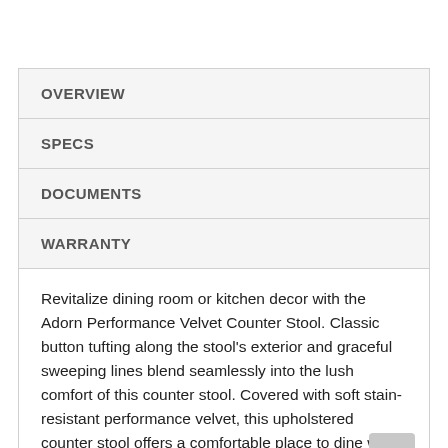OVERVIEW
SPECS
DOCUMENTS
WARRANTY
Revitalize dining room or kitchen decor with the Adorn Performance Velvet Counter Stool. Classic button tufting along the stool's exterior and graceful sweeping lines blend seamlessly into the lush comfort of this counter stool. Covered with soft stain-resistant performance velvet, this upholstered counter stool offers a comfortable place to dine with a dense foam padded seat.